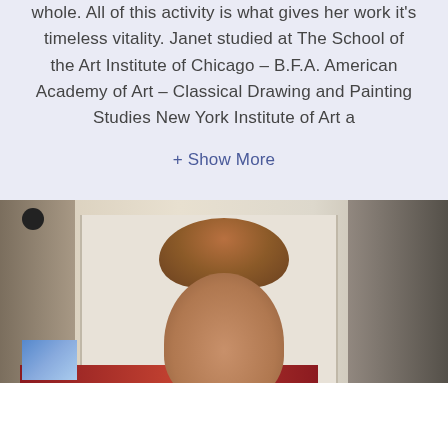whole. All of this activity is what gives her work it's timeless vitality. Janet studied at The School of the Art Institute of Chicago – B.F.A. American Academy of Art – Classical Drawing and Painting Studies New York Institute of Art a
+ Show More
[Figure (photo): A photo of a woman with reddish-brown hair in what appears to be an art studio or workspace, with cabinetry and a security camera visible in the background.]